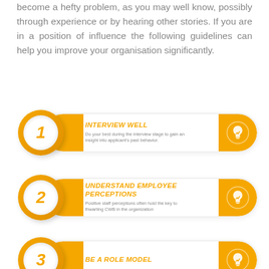become a hefty problem, as you may well know, possibly through experience or by hearing other stories. If you are in a position of influence the following guidelines can help you improve your organisation significantly.
[Figure (infographic): Step 1 numbered circle badge with orange pill banner reading INTERVIEW WELL - Do your best during the interview stage to gain an insight into applicant's past behavior. Lightbulb icon on right.]
[Figure (infographic): Step 2 numbered circle badge with orange pill banner reading UNDERSTAND EMPLOYEE PERCEPTIONS - Positive staff perceptions often hold the key to thwarting CWB in the organization. Lightbulb icon on right.]
[Figure (infographic): Step 3 numbered circle badge with orange pill banner reading BE A ROLE MODEL. Lightbulb icon on right.]